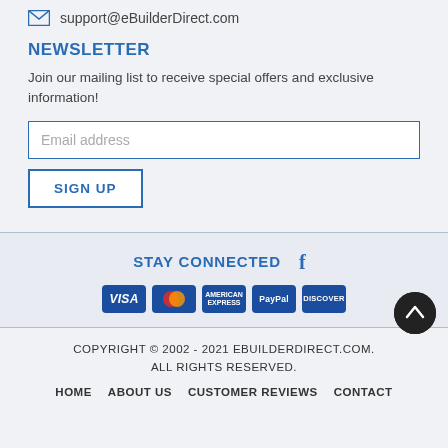support@eBuilderDirect.com
NEWSLETTER
Join our mailing list to receive special offers and exclusive information!
Email address
SIGN UP
STAY CONNECTED
[Figure (logo): Payment icons: VISA, Mastercard, American Express, PayPal, Discover]
COPYRIGHT © 2002 - 2021 EBUILDERDIRECT.COM. ALL RIGHTS RESERVED.
HOME   ABOUT US   CUSTOMER REVIEWS   CONTACT